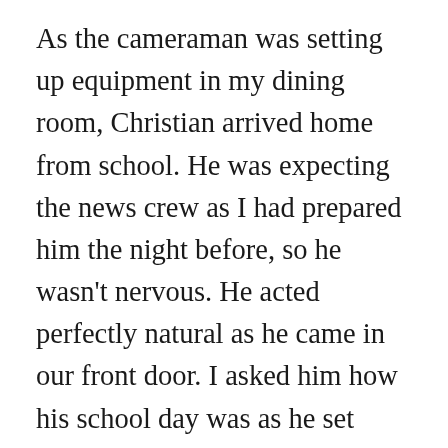As the cameraman was setting up equipment in my dining room, Christian arrived home from school. He was expecting the news crew as I had prepared him the night before, so he wasn't nervous. He acted perfectly natural as he came in our front door. I asked him how his school day was as he set down his backpack, took off his coat, and grabbed his newspaper bag. He shook hands with Paul and the cameraman, and then went to his